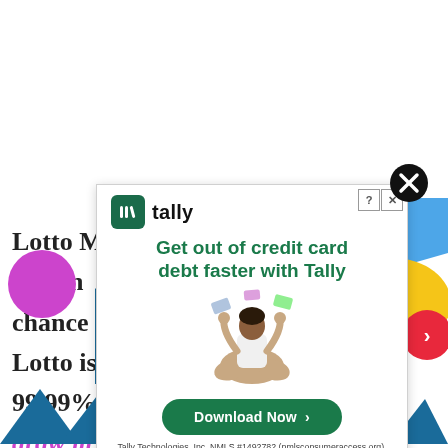[Figure (screenshot): Advertisement overlay from Tally Technologies showing 'Get out of credit card debt faster with Tally' with a Download Now button, decorative geometric shapes (blue and yellow), a close button (black X circle), help/close mini icons, and partial background text of a lottery article visible around the edges.]